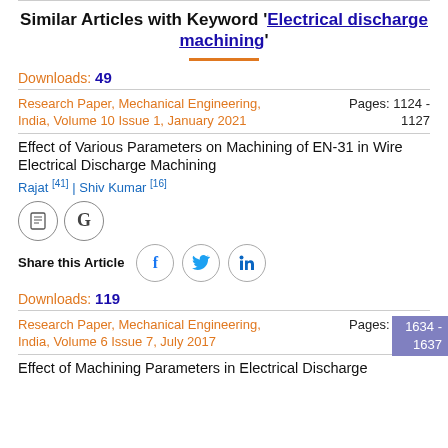Similar Articles with Keyword 'Electrical discharge machining'
Downloads: 49
Research Paper, Mechanical Engineering, India, Volume 10 Issue 1, January 2021   Pages: 1124 - 1127
Effect of Various Parameters on Machining of EN-31 in Wire Electrical Discharge Machining
Rajat [41] | Shiv Kumar [16]
[Figure (illustration): Document icon and Google Scholar icon in circles, then Share this Article label with Facebook, Twitter, LinkedIn share icons in circles]
Downloads: 119
Research Paper, Mechanical Engineering, India, Volume 6 Issue 7, July 2017   Pages: 1634 - 1637
Effect of Machining Parameters in Electrical Discharge